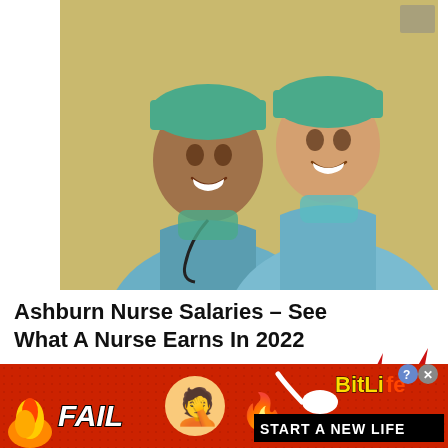[Figure (photo): Two female nurses in blue scrubs and teal surgical caps smiling, posed back-to-back against a beige/yellow wall background. One has a stethoscope around her neck.]
Ashburn Nurse Salaries – See What A Nurse Earns In 2022
NurseJobs | Search Ads
[Figure (photo): Online advertisement banner for BitLife mobile game. Red background with fire/lightning graphics, 'FAIL' text on the left, cartoon emoji of person face-palming, flame emoji, sperm emoji, and 'BitLife' logo on the right with 'START A NEW LIFE' tagline in black bar. Has close/help buttons.]